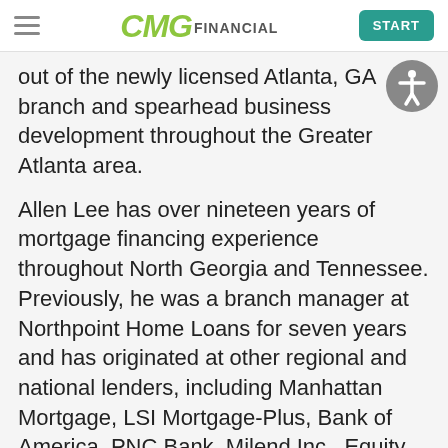CMG FINANCIAL | START
out of the newly licensed Atlanta, GA branch and spearhead business development throughout the Greater Atlanta area.
Allen Lee has over nineteen years of mortgage financing experience throughout North Georgia and Tennessee.  Previously, he was a branch manager at Northpoint Home Loans for seven years and has originated at other regional and national lenders, including Manhattan Mortgage, LSI Mortgage-Plus, Bank of America, PNC Bank, Milend Inc., Equity Prime Mortgage, and Intercoastal Mortgage Company.  Most recently, he served as Vice President of Sales at Equity Prime Mortgage.  Allen specializes in new construction loans, VA loans, and